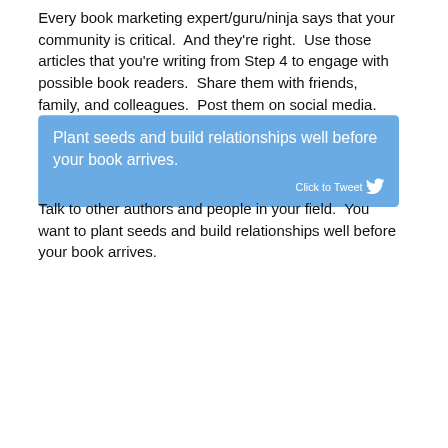Every book marketing expert/guru/ninja says that your community is critical.  And they're right.  Use those articles that you're writing from Step 4 to engage with possible book readers.  Share them with friends, family, and colleagues.  Post them on social media.
[Figure (infographic): Blue rounded-rectangle tweet box with white text: 'Plant seeds and build relationships well before your book arrives.' and 'Click to Tweet' with Twitter bird icon.]
Talk to other authors and people in your field.  You want to plant seeds and build relationships well before your book arrives.